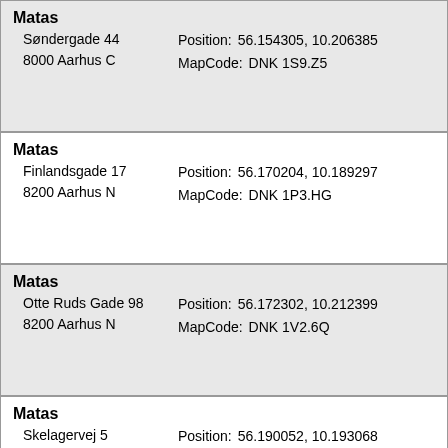Matas
Søndergade 44
8000 Aarhus C
Position: 56.154305, 10.206385
MapCode: DNK 1S9.Z5
Matas
Finlandsgade 17
8200 Aarhus N
Position: 56.170204, 10.189297
MapCode: DNK 1P3.HG
Matas
Otte Ruds Gade 98
8200 Aarhus N
Position: 56.172302, 10.212399
MapCode: DNK 1V2.6Q
Matas
Skelagervej 5
8200 Aarhus N
Position: 56.190052, 10.193068
MapCode: DNK 26W.XC